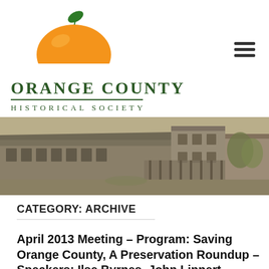[Figure (logo): Orange County Historical Society logo with stylized orange fruit and green leaf above the organization name]
[Figure (photo): Black and white historic photograph of old buildings in Orange County, showing a long low structure with a porch and an adjacent two-story building]
CATEGORY: ARCHIVE
April 2013 Meeting – Program: Saving Orange County, A Preservation Roundup – Speakers: Ilse Byrnes, John Linnert